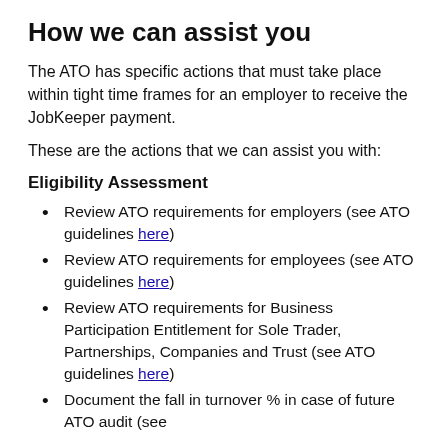How we can assist you
The ATO has specific actions that must take place within tight time frames for an employer to receive the JobKeeper payment.
These are the actions that we can assist you with:
Eligibility Assessment
Review ATO requirements for employers (see ATO guidelines here)
Review ATO requirements for employees (see ATO guidelines here)
Review ATO requirements for Business Participation Entitlement for Sole Trader, Partnerships, Companies and Trust (see ATO guidelines here)
Document the fall in turnover % in case of future ATO audit (see